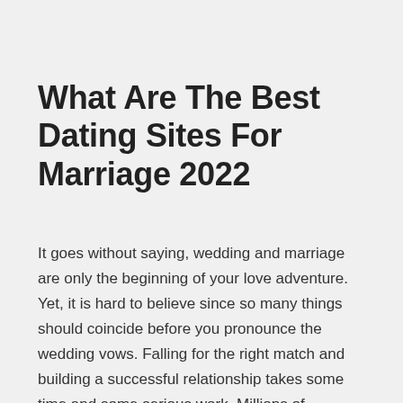What Are The Best Dating Sites For Marriage 2022
It goes without saying, wedding and marriage are only the beginning of your love adventure. Yet, it is hard to believe since so many things should coincide before you pronounce the wedding vows. Falling for the right match and building a successful relationship takes some time and some serious work. Millions of couples have been using dating sites to find someone to marry.